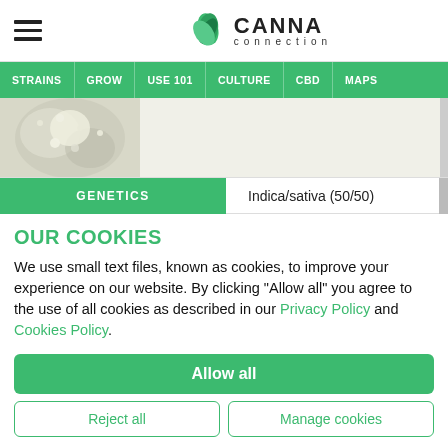[Figure (logo): Canna Connection logo with cannabis leaf icon and site name]
STRAINS | GROW | USE 101 | CULTURE | CBD | MAPS
[Figure (photo): Close-up photo of cannabis plant buds, white/silver trichomes]
| GENETICS |  |
| --- | --- |
|  | Indica/sativa (50/50) |
OUR COOKIES
We use small text files, known as cookies, to improve your experience on our website. By clicking "Allow all" you agree to the use of all cookies as described in our Privacy Policy and Cookies Policy.
Allow all
Reject all
Manage cookies